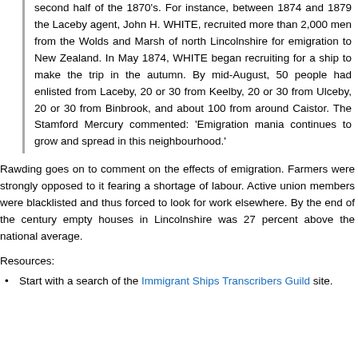second half of the 1870's. For instance, between 1874 and 1879 the Laceby agent, John H. WHITE, recruited more than 2,000 men from the Wolds and Marsh of north Lincolnshire for emigration to New Zealand. In May 1874, WHITE began recruiting for a ship to make the trip in the autumn. By mid-August, 50 people had enlisted from Laceby, 20 or 30 from Keelby, 20 or 30 from Ulceby, 20 or 30 from Binbrook, and about 100 from around Caistor. The Stamford Mercury commented: 'Emigration mania continues to grow and spread in this neighbourhood.'
Rawding goes on to comment on the effects of emigration. Farmers were strongly opposed to it fearing a shortage of labour. Active union members were blacklisted and thus forced to look for work elsewhere. By the end of the century empty houses in Lincolnshire was 27 percent above the national average.
Resources:
Start with a search of the Immigrant Ships Transcribers Guild site.